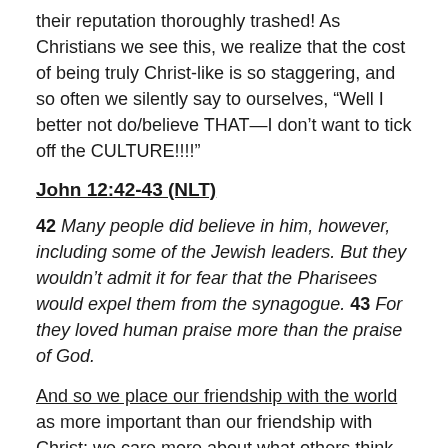their reputation thoroughly trashed! As Christians we see this, we realize that the cost of being truly Christ-like is so staggering, and so often we silently say to ourselves, “Well I better not do/believe THAT—I don’t want to tick off the CULTURE!!!!"
John 12:42-43 (NLT)
42 Many people did believe in him, however, including some of the Jewish leaders. But they wouldn’t admit it for fear that the Pharisees would expel them from the synagogue. 43 For they loved human praise more than the praise of God.
And so we place our friendship with the world as more important than our friendship with Christ; we care more about what others think of us than what Jesus thinks of us.